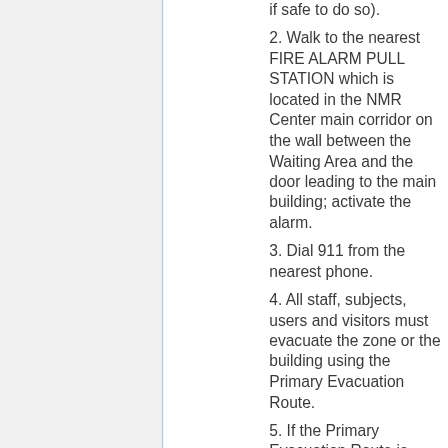if safe to do so).
2. Walk to the nearest FIRE ALARM PULL STATION which is located in the NMR Center main corridor on the wall between the Waiting Area and the door leading to the main building; activate the alarm.
3. Dial 911 from the nearest phone.
4. All staff, subjects, users and visitors must evacuate the zone or the building using the Primary Evacuation Route.
5. If the Primary Evacuation Route is